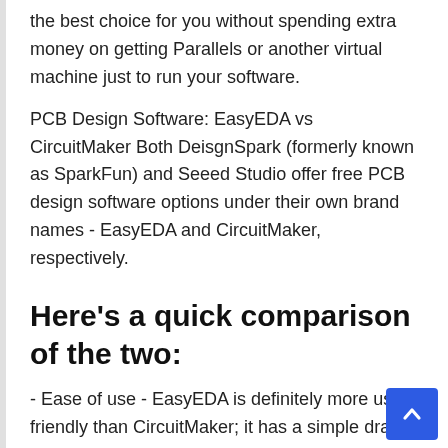the best choice for you without spending extra money on getting Parallels or another virtual machine just to run your software.
PCB Design Software: EasyEDA vs CircuitMaker Both DeisgnSpark (formerly known as SparkFun) and Seeed Studio offer free PCB design software options under their own brand names - EasyEDA and CircuitMaker, respectively.
Here's a quick comparison of the two:
- Ease of use - EasyEDA is definitely more user-friendly than CircuitMaker; it has a simple drag-and-drop interface and walks you through